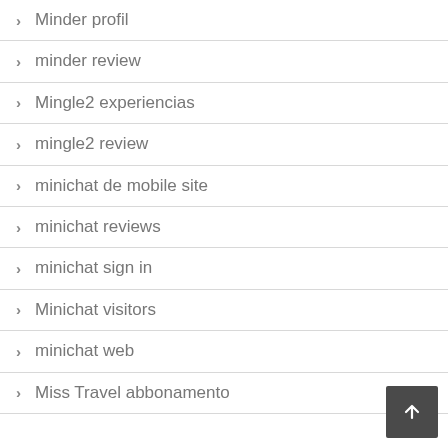Minder profil
minder review
Mingle2 experiencias
mingle2 review
minichat de mobile site
minichat reviews
minichat sign in
Minichat visitors
minichat web
Miss Travel abbonamento